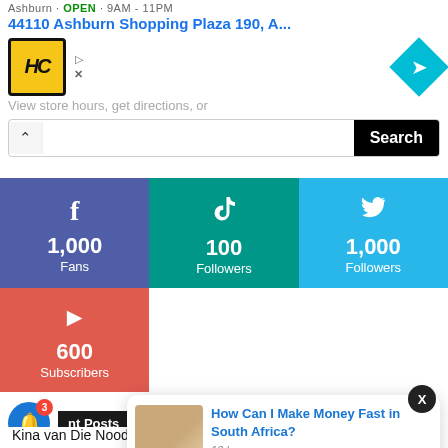[Figure (screenshot): Advertisement bar showing HC logo, Ashburn OPEN 9AM-11PM text, address 44110 Ashburn Shopping Plaza 190 A..., navigation arrow diamond icon, View store hours get directions or text, and a search bar with Search button]
[Figure (infographic): Social media stats grid: Facebook 1,000 Fans (blue-purple), TikTok 100 Followers (teal), Twitter 1,000 Followers (light blue), YouTube 600 Subscribers (red)]
[Figure (screenshot): Popup card showing article: How Can I Make Money Fast in South Africa? posted 13 hours ago, with thumbnail image of woman holding cash]
[Figure (screenshot): Bottom bar with notification bell (badge 3), Recent Posts label, and article title Kina van Die Noodlot Teasers - September 2022]
X close button overlay